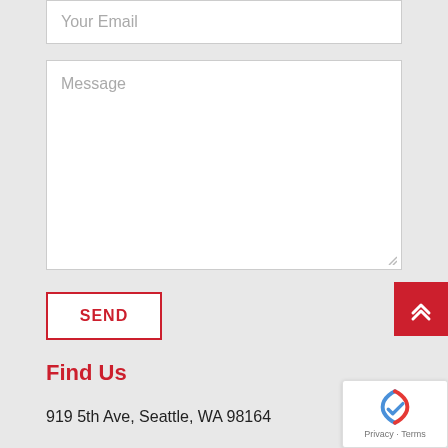Your Email
Message
SEND
Find Us
919 5th Ave, Seattle, WA 98164